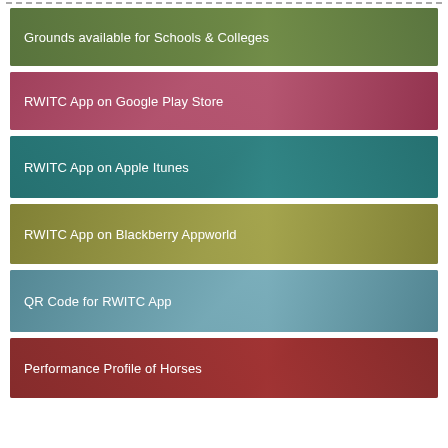[Figure (infographic): Banner with text: Grounds available for Schools & Colleges, green overlay on horse racing photo]
[Figure (infographic): Banner with text: RWITC App on Google Play Store, red/pink overlay on horse racing photo]
[Figure (infographic): Banner with text: RWITC App on Apple Itunes, teal overlay on horse racing photo]
[Figure (infographic): Banner with text: RWITC App on Blackberry Appworld, olive/yellow overlay on horse racing photo]
[Figure (infographic): Banner with text: QR Code for RWITC App, light blue-gray overlay on horse racing photo]
[Figure (infographic): Banner with text: Performance Profile of Horses, dark red overlay on horse racing photo]